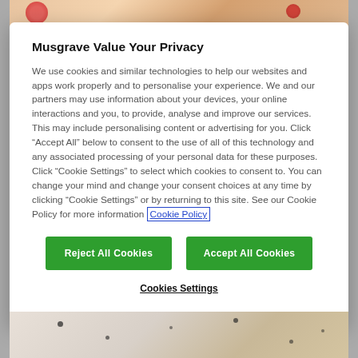[Figure (photo): Top partial photo of food items with red fruit/tomato visible]
Musgrave Value Your Privacy
We use cookies and similar technologies to help our websites and apps work properly and to personalise your experience. We and our partners may use information about your devices, your online interactions and you, to provide, analyse and improve our services. This may include personalising content or advertising for you. Click “Accept All” below to consent to the use of all of this technology and any associated processing of your personal data for these purposes. Click “Cookie Settings” to select which cookies to consent to. You can change your mind and change your consent choices at any time by clicking “Cookie Settings” or by returning to this site. See our Cookie Policy for more information Cookie Policy
Reject All Cookies
Accept All Cookies
Cookies Settings
[Figure (photo): Bottom partial photo of baked goods/cookies with sprinkles]